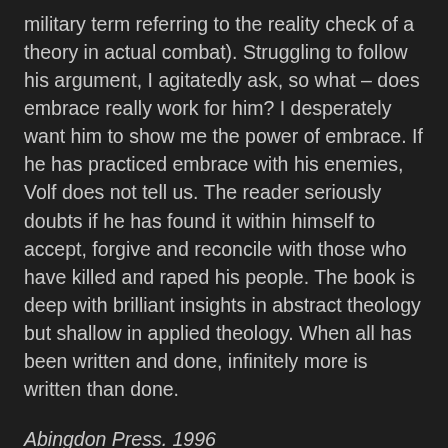military term referring to the reality check of a theory in actual combat). Struggling to follow his argument, I agitatedly ask, so what – does embrace really work for him? I desperately want him to show me the power of embrace. If he has practiced embrace with his enemies, Volf does not tell us. The reader seriously doubts if he has found it within himself to accept, forgive and reconcile with those who have killed and raped his people. The book is deep with brilliant insights in abstract theology but shallow in applied theology. When all has been written and done, infinitely more is written than done.
Abingdon Press. 1996
No related posts.